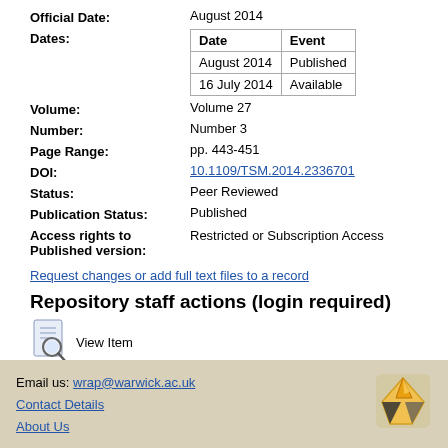| Official Date: | August 2014 |
| Dates: |  |
| Volume: | Volume 27 |
| Number: | Number 3 |
| Page Range: | pp. 443-451 |
| DOI: | 10.1109/TSM.2014.2336701 |
| Status: | Peer Reviewed |
| Publication Status: | Published |
| Access rights to Published version: | Restricted or Subscription Access |
| Date | Event |
| --- | --- |
| August 2014 | Published |
| 16 July 2014 | Available |
Request changes or add full text files to a record
Repository staff actions (login required)
View Item
Email us: wrap@warwick.ac.uk
Contact Details
About Us